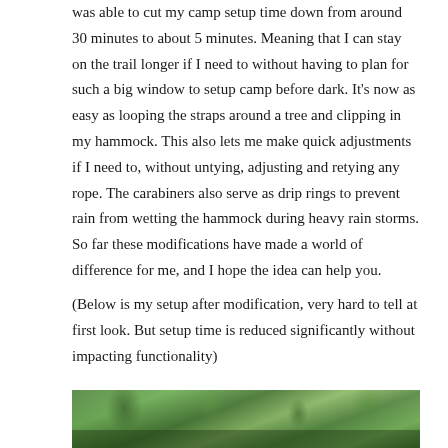was able to cut my camp setup time down from around 30 minutes to about 5 minutes. Meaning that I can stay on the trail longer if I need to without having to plan for such a big window to setup camp before dark. It's now as easy as looping the straps around a tree and clipping in my hammock. This also lets me make quick adjustments if I need to, without untying, adjusting and retying any rope. The carabiners also serve as drip rings to prevent rain from wetting the hammock during heavy rain storms. So far these modifications have made a world of difference for me, and I hope the idea can help you.
(Below is my setup after modification, very hard to tell at first look. But setup time is reduced significantly without impacting functionality)
[Figure (photo): Outdoor forest/woodland scene viewed through hammock straps in trees, green foliage visible, a nature/camping setting.]